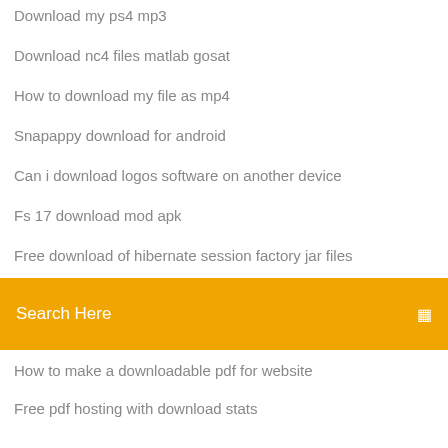Download my ps4 mp3
Download nc4 files matlab gosat
How to download my file as mp4
Snapappy download for android
Can i download logos software on another device
Fs 17 download mod apk
Free download of hibernate session factory jar files
Search Here
How to make a downloadable pdf for website
Free pdf hosting with download stats
Download instagram application for pc windows 8.1
Siya ke ram episode download mp4
Free full version tv web broadcaster download
Nigerian drivers license sample psd download
Bittorent pro download apk
Download ringcentral fax app
Dying light free dlc ps4 download
How to download song on spotify app